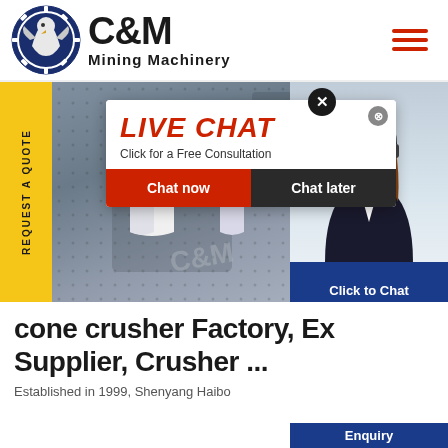[Figure (logo): C&M Mining Machinery logo with eagle/gear icon in navy blue, company name in bold black text]
[Figure (photo): Website screenshot showing factory background with workers in yellow hard hats, a live chat popup overlay, and a customer service agent on the right]
cone crusher Factory, Ex Supplier, Crusher ...
Established in 1999, Shenyang Haibo...